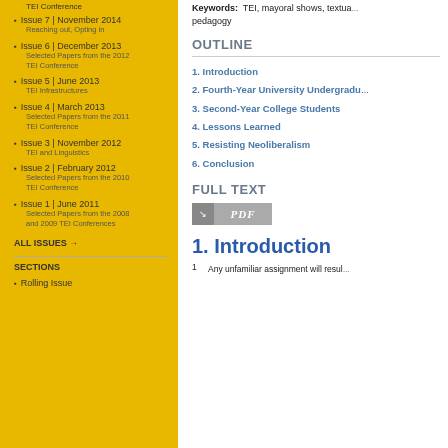TEI Conference
Issue 7 | November 2014
Reaching out, Opting in
Issue 6 | December 2013
Selected Papers from the 2012 TEI Conference
Issue 5 | June 2013
TEI Infrastructures
Issue 4 | March 2013
Selected Papers from the 2011 TEI Conference
Issue 3 | November 2012
TEI and Linguistics
Issue 2 | February 2012
Selected Papers from the 2010 TEI Conference
Issue 1 | June 2011
Selected Papers from the 2008 and 2009 TEI Conferences
ALL ISSUES →
SECTIONS
Rolling Issue
Keywords: TEI, mayoral shows, textua... pedagogy
OUTLINE
1. Introduction
2. Fourth-Year University Undergradu...
3. Second-Year College Students
4. Lessons Learned
5. Resisting Neoliberalism
6. Conclusion
FULL TEXT
[Figure (other): PDF download button with grey icon and label]
1. Introduction
Any unfamiliar assignment will resul...